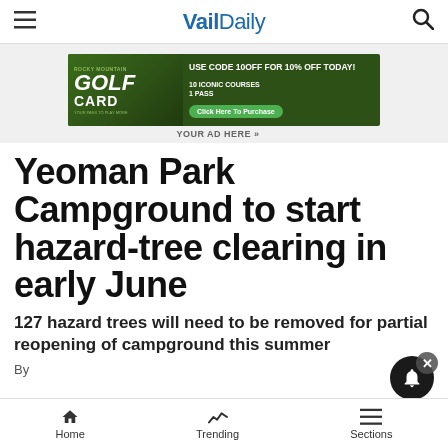Vail Daily
[Figure (other): Rocky Mountain Golf Card advertisement banner: USE CODE 10OFF FOR 10% OFF TODAY! 10 ICONIC COURSES 1 PASS. Click Here To Purchase.]
YOUR AD HERE »
Yeoman Park Campground to start hazard-tree clearing in early June
127 hazard trees will need to be removed for partial reopening of campground this summer
Home   Trending   Sections